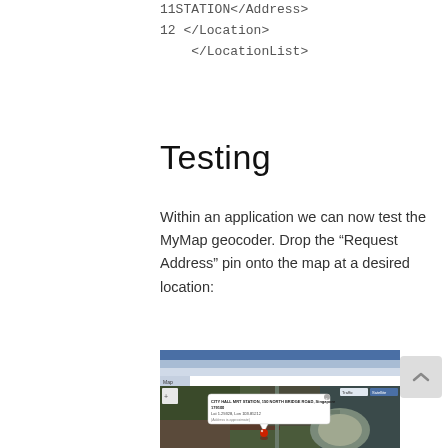11STATION</Address>
12 </Location>
    </LocationList>
Testing
Within an application we can now test the MyMap geocoder. Drop the "Request Address" pin onto the map at a desired location:
[Figure (screenshot): Screenshot of a MyMap application showing a satellite aerial map of Singapore's City Hall area. A popup balloon is visible showing: CITY HALL MRT STATION, 150 NORTH BRIDGE ROAD, Singapore 179100, Lat 1.29328, Lon 103.85212, and additional text. A red map pin marks the location.]